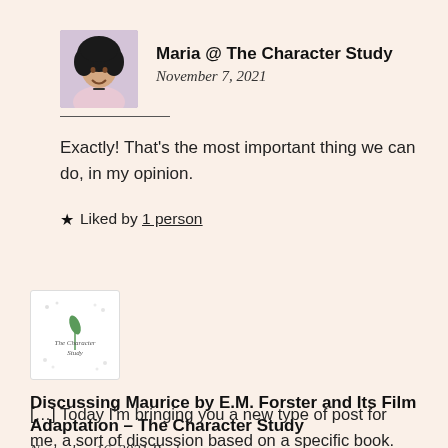[Figure (photo): Avatar photo of Maria, a person with curly short hair, smiling, wearing a light pink top]
Maria @ The Character Study
November 7, 2021
Exactly! That's the most important thing we can do, in my opinion.
★ Liked by 1 person
[Figure (logo): The Character Study blog logo — small text on white background with decorative dots]
Discussing Maurice by E.M. Forster and Its Film Adaptation – The Character Study
November 16, 2021 Reply
[…] Today I'm bringing you a new type of post for me, a sort of discussion based on a specific book. These posts